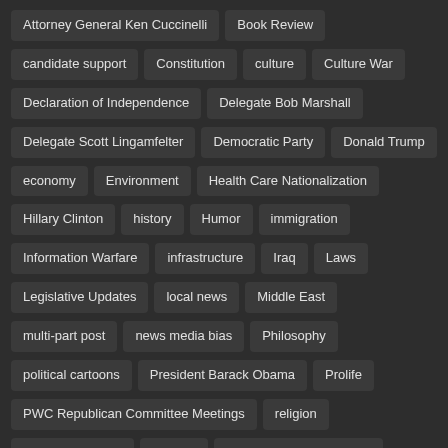Attorney General Ken Cuccinelli
Book Review
candidate support
Constitution
culture
Culture War
Declaration of Independence
Delegate Bob Marshall
Delegate Scott Lingamfelter
Democratic Party
Donald Trump
economy
Environment
Health Care Nationalization
Hillary Clinton
history
Humor
immigration
Information Warfare
infrastructure
Iraq
Laws
Legislative Updates
local news
Middle East
multi-part post
news media bias
Philosophy
political cartoons
President Barack Obama
Prolife
PWC Republican Committee Meetings
religion
Republican Party
schools
Senator Mark Obenshain
taxes
Tea Party
Uncategorized
unraveling
US Blogs
VA-Blogs